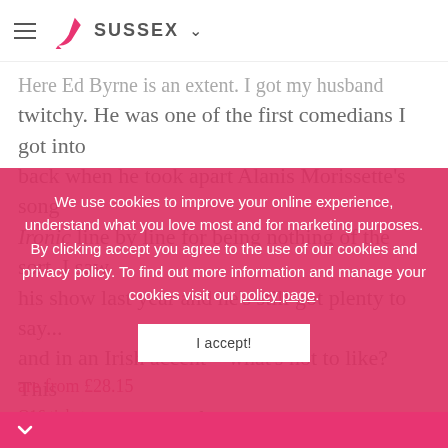SUSSEX
Here Ed Byrne is an extent. I got my husband twitchy. He was one of the first comedians I got into back when he took apart Alanis Morissette's song Ironic line by line for being nothing of the sort. I saw his show last year and he's still got plenty to say... and in an Irish accent – what's not to like? This time he asks are we filled with righteous anger at a world gone wrong, or are we all just a bunch of whiny little brats? In short, are we spoiled? This might just be my Valentine's present to self. Tickets are from £28.15
O16 tickets
Kite Runner, The Hawth, Crawley, Tues 20 – Sat 24 Feb
We use cookies to improve your online experience, understand what you love most and for marketing purposes. By clicking accept you agree to the use of our cookies and privacy policy. To find out more information and manage your cookies visit our policy page.
I accept!